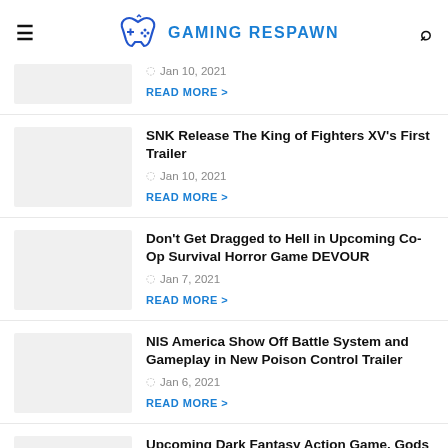GAMING RESPAWN
Jan 10, 2021
READ MORE
SNK Release The King of Fighters XV's First Trailer
Jan 10, 2021
READ MORE
Don't Get Dragged to Hell in Upcoming Co-Op Survival Horror Game DEVOUR
Jan 7, 2021
READ MORE
NIS America Show Off Battle System and Gameplay in New Poison Control Trailer
Jan 6, 2021
READ MORE
Upcoming Dark Fantasy Action Game, Gods Will Fall, Is Now Available to Pre-Order